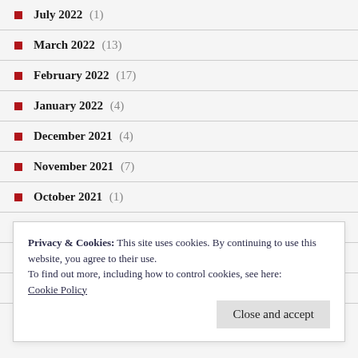July 2022 (1)
March 2022 (13)
February 2022 (17)
January 2022 (4)
December 2021 (4)
November 2021 (7)
October 2021 (1)
September 2021 (3)
August 2021 (11)
July 2021 (18)
Privacy & Cookies: This site uses cookies. By continuing to use this website, you agree to their use. To find out more, including how to control cookies, see here: Cookie Policy
Close and accept